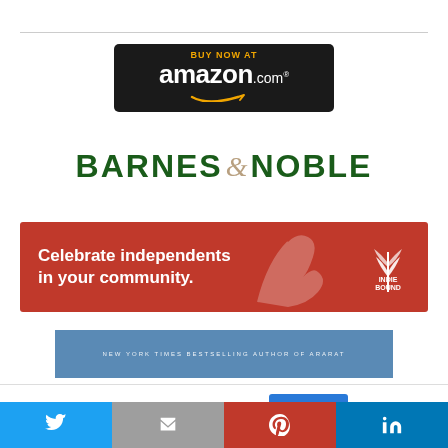[Figure (logo): Amazon.com 'Buy Now At' badge on dark background with yellow arrow smile]
[Figure (logo): Barnes & Noble logo in dark green bold uppercase text with decorative ampersand]
[Figure (infographic): IndieBound red banner ad: 'Celebrate independents in your community.' with IndieBound logo on right]
[Figure (photo): Partial book cover with blue banner and text 'NEW YORK TIMES BESTSELLING AUTHOR OF ARARAT']
This website uses cookies.
[Figure (infographic): Social share bar with Twitter, Email (M), Pinterest, and LinkedIn buttons]